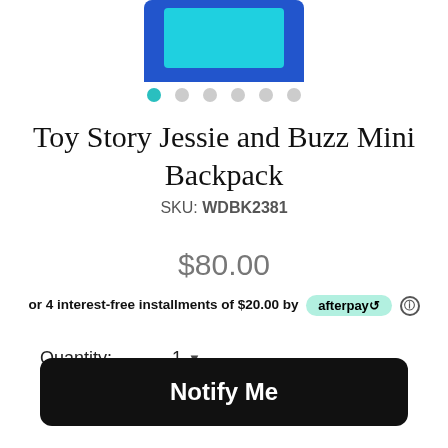[Figure (photo): Bottom portion of a blue Toy Story Jessie and Buzz Mini Backpack product image]
● ● ● ● ● ●
Toy Story Jessie and Buzz Mini Backpack
SKU: WDBK2381
$80.00
or 4 interest-free installments of $20.00 by afterpay ℹ
Quantity: 1 ▼
Notify Me